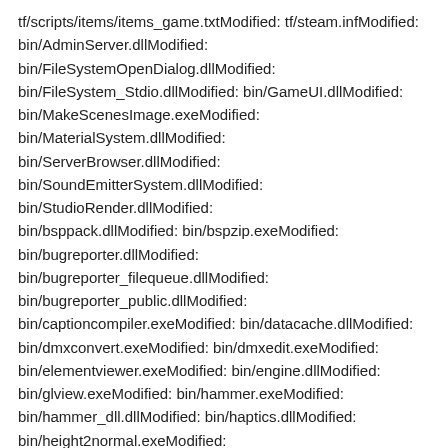tf/scripts/items/items_game.txtModified: tf/steam.infModified: bin/AdminServer.dllModified: bin/FileSystemOpenDialog.dllModified: bin/FileSystem_Stdio.dllModified: bin/GameUI.dllModified: bin/MakeScenesImage.exeModified: bin/MaterialSystem.dllModified: bin/ServerBrowser.dllModified: bin/SoundEmitterSystem.dllModified: bin/StudioRender.dllModified: bin/bsppack.dllModified: bin/bspzip.exeModified: bin/bugreporter.dllModified: bin/bugreporter_filequeue.dllModified: bin/bugreporter_public.dllModified: bin/captioncompiler.exeModified: bin/datacache.dllModified: bin/dmxconvert.exeModified: bin/dmxedit.exeModified: bin/elementviewer.exeModified: bin/engine.dllModified: bin/glview.exeModified: bin/hammer.exeModified: bin/hammer_dll.dllModified: bin/haptics.dllModified: bin/height2normal.exeModified: bin/height2ssbump.exeModified: bin/hlfaceposer.exeModified: bin/hlmv.exeModified: bin/inputsystem.dllModified: bin/itemtest.comModified: